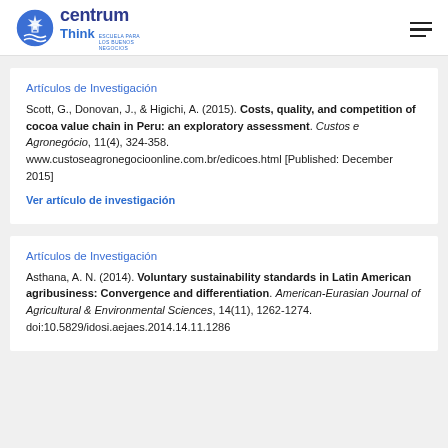centrum Think ESCUELA PARA LOS BUENOS NEGOCIOS
Artículos de Investigación
Scott, G., Donovan, J., & Higichi, A. (2015). Costs, quality, and competition of cocoa value chain in Peru: an exploratory assessment. Custos e Agronegócio, 11(4), 324-358. www.custoseagronegocioonline.com.br/edicoes.html [Published: December 2015]
Ver artículo de investigación
Artículos de Investigación
Asthana, A. N. (2014). Voluntary sustainability standards in Latin American agribusiness: Convergence and differentiation. American-Eurasian Journal of Agricultural & Environmental Sciences, 14(11), 1262-1274. doi:10.5829/idosi.aejaes.2014.14.11.1286